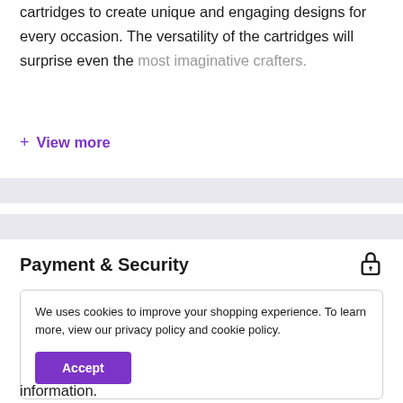cartridges to create unique and engaging designs for every occasion. The versatility of the cartridges will surprise even the most imaginative crafters.
+ View more
Payment & Security
We uses cookies to improve your shopping experience. To learn more, view our privacy policy and cookie policy.
Accept
information.